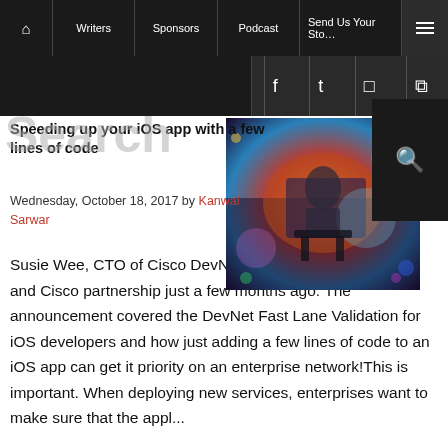Home | Writers | Sponsors | Podcast | Send Us Your Story | Menu
Facebook | Twitter | Instagram | RSS
Speeding up your iOS app with a few lines of code
Wednesday, October 18, 2017 by Kanwal Sarwar
[Figure (photo): Colorful digital illustration of a person sitting in a chair surrounded by abstract digital art]
Susie Wee, CTO of Cisco DevNet, blogged about the Apple and Cisco partnership just a few months ago. The announcement covered the DevNet Fast Lane Validation for iOS developers and how just adding a few lines of code to an iOS app can get it priority on an enterprise network!This is important. When deploying new services, enterprises want to make sure that the appl...